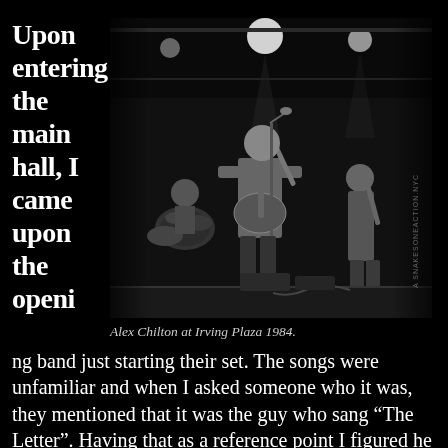Upon entering the main hall, I came upon the opening band just starting their set. The songs were unfamiliar and when I asked someone who it was, they mentioned that it was the guy who sang “The Letter”. Having that as a reference point I figured he was an oldies act, sort of
[Figure (photo): Black and white concert photograph of Alex Chilton performing on stage at Irving Plaza 1984, playing guitar and singing into a microphone, with band members visible in the background including a drummer and bassist. Watermark reads 'A SNAKESONEACTION.NYC' vertically on the right side.]
Alex Chilton at Irving Plaza 1984.